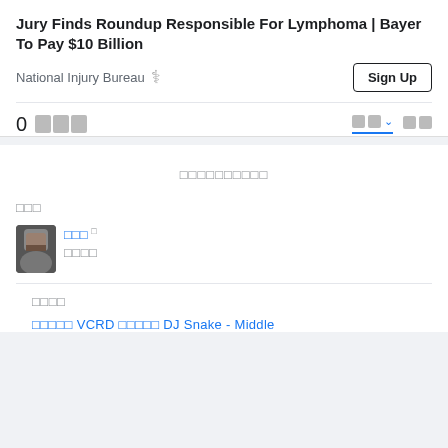Jury Finds Roundup Responsible For Lymphoma | Bayer To Pay $10 Billion
National Injury Bureau
0 □□□
□□□□□□□□□□
□□□
□□□ □
□□□□
□□□□
□□□□□ VCRD □□□□□ DJ Snake - Middle